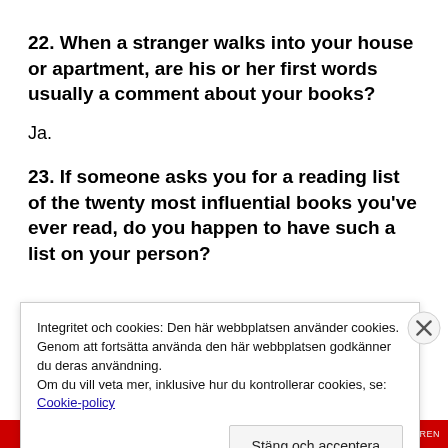22. When a stranger walks into your house or apartment, are his or her first words usually a comment about your books?
Ja.
23. If someone asks you for a reading list of the twenty most influential books you've ever read, do you happen to have such a list on your person?
Integritet och cookies: Den här webbplatsen använder cookies. Genom att fortsätta använda den här webbplatsen godkänner du deras användning.
Om du vill veta mer, inklusive hur du kontrollerar cookies, se: Cookie-policy